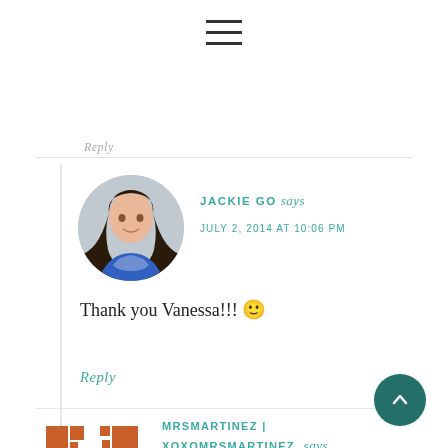[Figure (illustration): Hamburger menu icon (three horizontal lines) centered at top of page]
Reply
[Figure (photo): Circular avatar photo of a woman with long dark hair wearing a blue patterned top]
JACKIE GO says
JULY 2, 2014 AT 10:06 PM
Thank you Vanessa!!! 🙂
Reply
[Figure (logo): MrsMartinez / xoxomrsmartinez logo: brown/orange geometric cross-like pinwheel shape]
MRSMARTINEZ | XOXOMRSMARTINEZ. says
JUNE 29, 2014 AT 2:17 PM